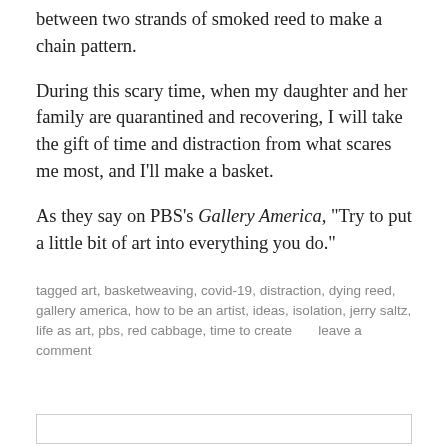between two strands of smoked reed to make a chain pattern.
During this scary time, when my daughter and her family are quarantined and recovering, I will take the gift of time and distraction from what scares me most, and I'll make a basket.
As they say on PBS's Gallery America, "Try to put a little bit of art into everything you do."
tagged art, basketweaving, covid-19, distraction, dying reed, gallery america, how to be an artist, ideas, isolation, jerry saltz, life as art, pbs, red cabbage, time to create     leave a comment